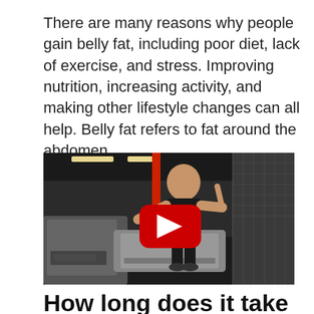There are many reasons why people gain belly fat, including poor diet, lack of exercise, and stress. Improving nutrition, increasing activity, and making other lifestyle changes can all help. Belly fat refers to fat around the abdomen.
[Figure (photo): A man in a black tank top on a treadmill in a gym, raising one finger, with a YouTube play button overlay in the center of the image.]
How long does it take to